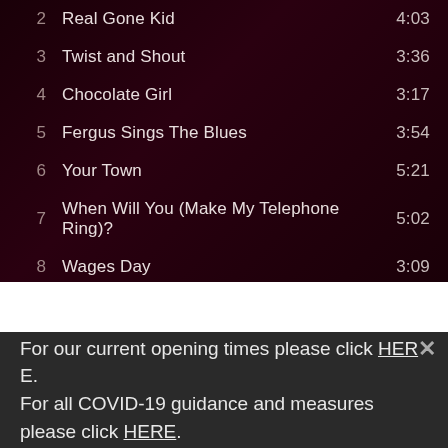2  Real Gone Kid  4:03
3  Twist and Shout  3:36
4  Chocolate Girl  3:17
5  Fergus Sings The Blues  3:54
6  Your Town  5:21
7  When Will You (Make My Telephone Ring)?  5:02
8  Wages Day  3:09
9  Raintown  3:49
10  I'll Never Fall in Love Again  2:45
For our current opening times please click HERE. For all COVID-19 guidance and measures please click HERE.